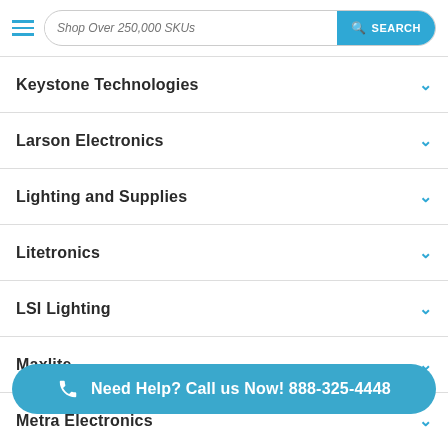Shop Over 250,000 SKUs — SEARCH
Keystone Technologies
Larson Electronics
Lighting and Supplies
Litetronics
LSI Lighting
Maxlite
Metra Electronics
Natu
Need Help? Call us Now! 888-325-4448